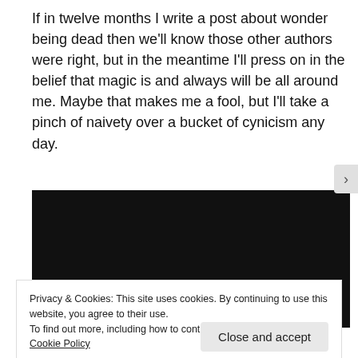If in twelve months I write a post about wonder being dead then we'll know those other authors were right, but in the meantime I'll press on in the belief that magic is and always will be all around me. Maybe that makes me a fool, but I'll take a pinch of naivety over a bucket of cynicism any day.
[Figure (screenshot): Dark video player showing 'Video unavailable' message with a circular icon and down-arrow symbol on a black background.]
Privacy & Cookies: This site uses cookies. By continuing to use this website, you agree to their use.
To find out more, including how to control cookies, see here: Cookie Policy